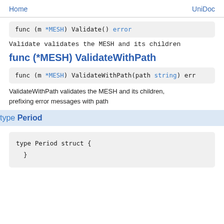Home    UniDoc
func (m *MESH) Validate() error
Validate validates the MESH and its children
func (*MESH) ValidateWithPath
func (m *MESH) ValidateWithPath(path string) err
ValidateWithPath validates the MESH and its children, prefixing error messages with path
type Period
type Period struct {
}